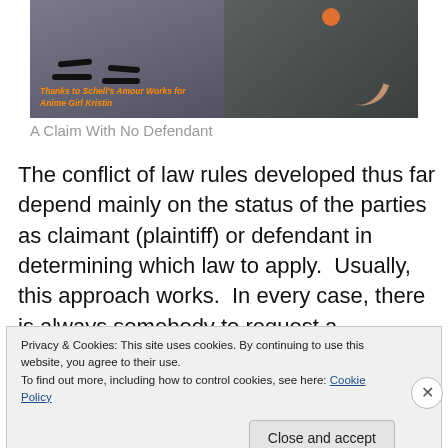[Figure (illustration): Stylized 3D-render image showing feet with sandals and what appears to be a small animal nearby, with orange text overlay reading 'Thanks to Schell's Amour Works for Anime Girl Kristin']
A Claim With No Defendant
The conflict of law rules developed thus far depend mainly on the status of the parties as claimant (plaintiff) or defendant in determining which law to apply.  Usually, this approach works.  In every case, there is always somebody to request a judgment.  So if “claim” is defined broadly as
Privacy & Cookies: This site uses cookies. By continuing to use this website, you agree to their use.
To find out more, including how to control cookies, see here: Cookie Policy
Close and accept